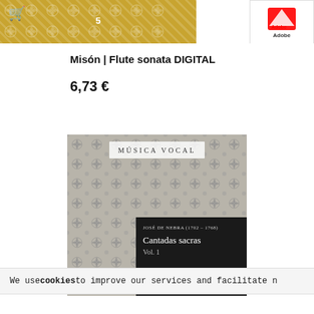[Figure (screenshot): Top banner with decorative golden damask pattern, shopping cart icon, page number 5, and Adobe PDF badge]
Misón | Flute sonata DIGITAL
6,73 €
[Figure (photo): Book cover for 'Cantadas sacras Vol. 1' by José de Nebra (1702-1768), with grey damask background pattern, label 'MÚSICA VOCAL' at top, and black panel showing title, volume and edition info by Raúl Angulo Díaz]
We use cookies to improve our services and facilitate n